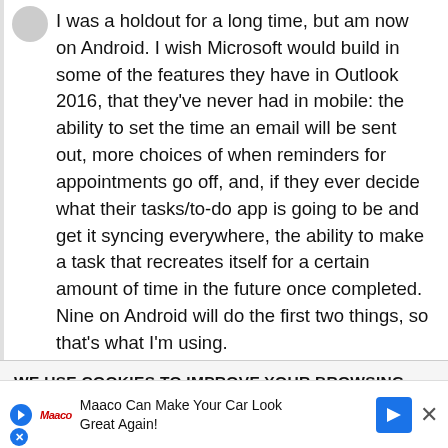I was a holdout for a long time, but am now on Android. I wish Microsoft would build in some of the features they have in Outlook 2016, that they've never had in mobile: the ability to set the time an email will be sent out, more choices of when reminders for appointments go off, and, if they ever decide what their tasks/to-do app is going to be and get it syncing everywhere, the ability to make a task that recreates itself for a certain amount of time in the future once completed. Nine on Android will do the first two things, so that's what I'm using.
4 years ago ♥ 0
WE USE COOKIES TO IMPROVE YOUR BROWSING EXPER...
Maaco Can Make Your Car Look Great Again!